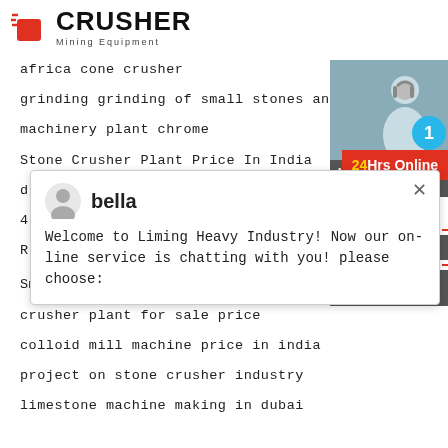[Figure (logo): Crusher Mining Equipment logo with red shopping bag icon and bold CRUSHER text]
africa cone crusher
grinding grinding of small stones and roots
machinery plant chrome
Stone Crusher Plant Price In India
d
4
R
Small Gold Crusher For Batch Plant
crusher plant for sale price
colloid mill machine price in india
project on stone crusher industry
limestone machine making in dubai
[Figure (screenshot): Chat popup from bella: Welcome to Liming Heavy Industry! Now our on-line service is chatting with you! please choose:]
[Figure (infographic): Right sidebar with 24Hrs Online button, Need & suggestions chat now, Enquiry, limingjlmofen@sina.com, blue circle with 1]